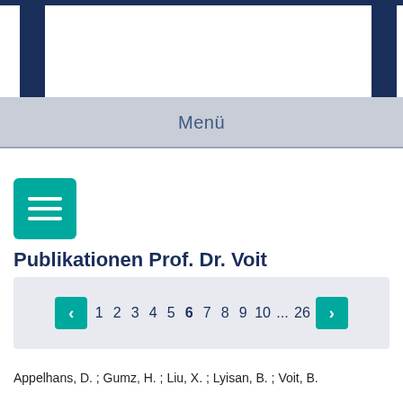Menü
[Figure (other): List/menu icon button (teal square with three horizontal lines icon)]
Publikationen Prof. Dr. Voit
< 1 2 3 4 5 6 7 8 9 10 ... 26 >
Appelhans, D. ; Gumz, H. ; Liu, X. ; Lyisan, B. ; Voit, B.